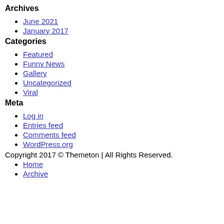Archives
June 2021
January 2017
Categories
Featured
Funny News
Gallery
Uncategorized
Viral
Meta
Log in
Entries feed
Comments feed
WordPress.org
Copyright 2017 © Themeton | All Rights Reserved.
Home
Archive